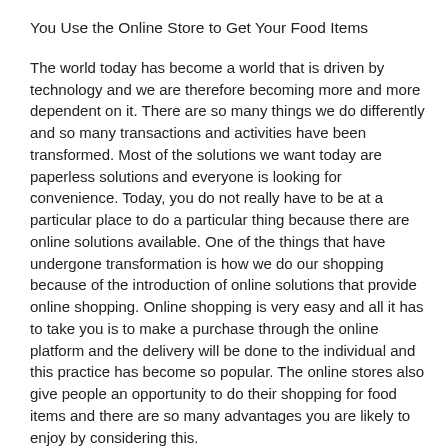You Use the Online Store to Get Your Food Items
The world today has become a world that is driven by technology and we are therefore becoming more and more dependent on it. There are so many things we do differently and so many transactions and activities have been transformed. Most of the solutions we want today are paperless solutions and everyone is looking for convenience. Today, you do not really have to be at a particular place to do a particular thing because there are online solutions available. One of the things that have undergone transformation is how we do our shopping because of the introduction of online solutions that provide online shopping. Online shopping is very easy and all it has to take you is to make a purchase through the online platform and the delivery will be done to the individual and this practice has become so popular. The online stores also give people an opportunity to do their shopping for food items and there are so many advantages you are likely to enjoy by considering this.